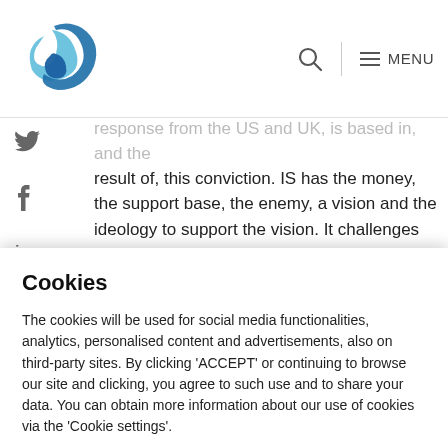Clingendael Institute logo, search icon, MENU
response from the US and UK, is based in, and the result of, this conviction. IS has the money, the support base, the enemy, a vision and the ideology to support the vision. It challenges the monopoly of the use of force and claims to represent the powerless.
Social media
Cookies
The cookies will be used for social media functionalities, analytics, personalised content and advertisements, also on third-party sites. By clicking 'ACCEPT' or continuing to browse our site and clicking, you agree to such use and to share your data. You can obtain more information about our use of cookies via the 'Cookie settings'.
Cookie settings   Accept